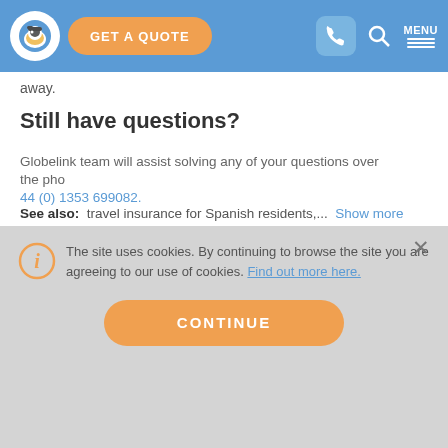GET A QUOTE | MENU
away.
Still have questions?
Globelink team will assist solving any of your questions over the phone 44 (0) 1353 699082.
See also: travel insurance for Spanish residents,... Show more
The site uses cookies. By continuing to browse the site you are agreeing to our use of cookies. Find out more here.
CONTINUE